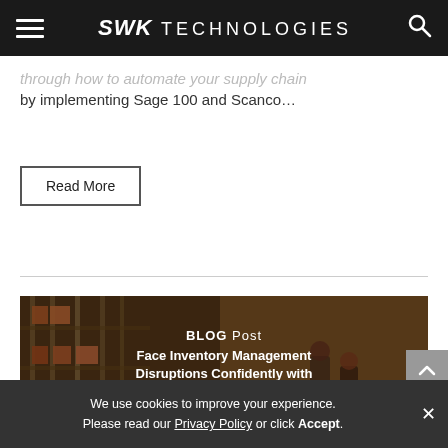SWK TECHNOLOGIES
through how to automate your supply chain by implementing Sage 100 and Scanco…
Read More
[Figure (photo): Warehouse with metal shelving racks and two workers, overlaid with blog post text: BLOG Post — Face Inventory Management Disruptions Confidently with Acumatica]
BLOG Post — Face Inventory Management Disruptions Confidently with Acumatica
We use cookies to improve your experience. Please read our Privacy Policy or click Accept.